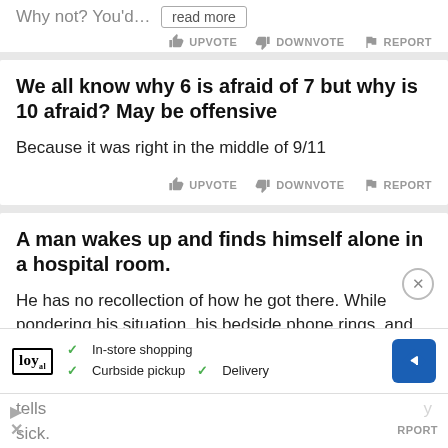Why not? You'd... read more
UPVOTE  DOWNVOTE  REPORT
We all know why 6 is afraid of 7 but why is 10 afraid? May be offensive
Because it was right in the middle of 9/11
UPVOTE  DOWNVOTE  REPORT
A man wakes up and finds himself alone in a hospital room.
He has no recollection of how he got there. While pondering his situation, his bedside phone rings, and he answers it.
A doctor on the other end identifies himself, and tells ... y sick. ... seve...
[Figure (screenshot): Advertisement banner with Loyal logo, checkmarks for In-store shopping, Curbside pickup, Delivery, and a blue navigation icon]